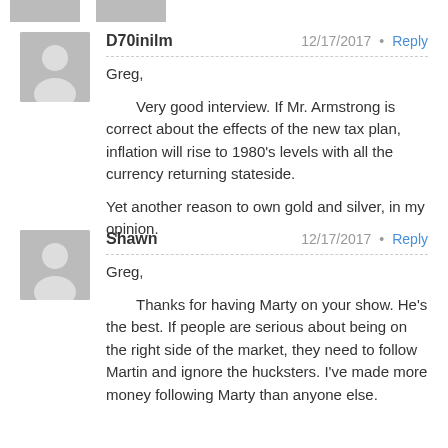D70inilm 12/17/2017 Reply
Greg,

Very good interview. If Mr. Armstrong is correct about the effects of the new tax plan, inflation will rise to 1980's levels with all the currency returning stateside.

Yet another reason to own gold and silver, in my opinion.
Shawn 12/17/2017 Reply
Greg,

Thanks for having Marty on your show. He's the best. If people are serious about being on the right side of the market, they need to follow Martin and ignore the hucksters. I've made more money following Marty than anyone else.